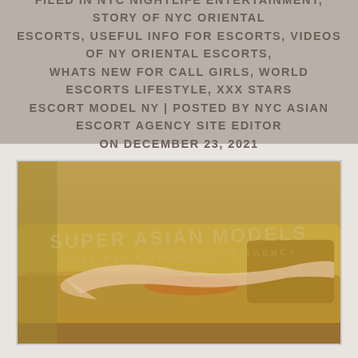FILED IN NYC NIGHTLIFE ENTERTAINMENT, STORY OF NYC ORIENTAL ESCORTS, USEFUL INFO FOR ESCORTS, VIDEOS OF NY ORIENTAL ESCORTS, WHATS NEW FOR CALL GIRLS, WORLD ESCORTS LIFESTYLE, XXX STARS ESCORT MODEL NY | POSTED BY NYC ASIAN ESCORT AGENCY SITE EDITOR ON DECEMBER 23, 2021
[Figure (photo): A person lying on a gold/tan colored sofa in a warm-toned interior setting, with a watermark reading SUPER ASIAN MODELS / ELITE NYC ASIAN ESCORTS AGENCY overlaid on the image.]